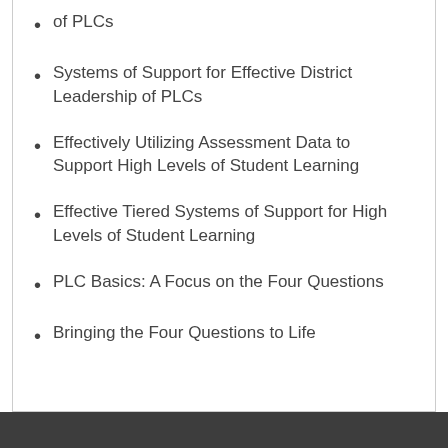of PLCs
Systems of Support for Effective District Leadership of PLCs
Effectively Utilizing Assessment Data to Support High Levels of Student Learning
Effective Tiered Systems of Support for High Levels of Student Learning
PLC Basics: A Focus on the Four Questions
Bringing the Four Questions to Life